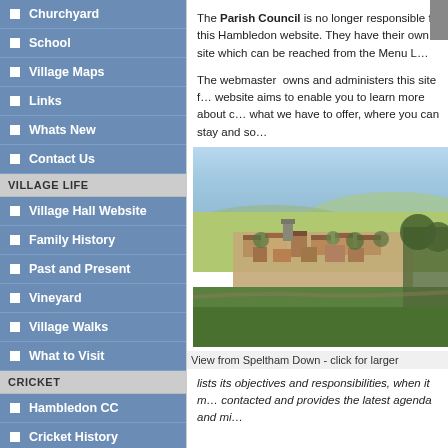Churchyard
School
Village Maps
Links
Whats New
Contact Us
VILLAGE LIFE
Village Hall Website
Family History
Past and Present
Vineyard
Village Walks
What to Visit
CRICKET
Hambledon CC
Cricket History
The Parish Council is no longer responsible for this Hambledon website. They have their own site which can be reached from the Menu L...
The webmaster owns and administers this site f... website aims to enable you to learn more about c... what we have to offer, where you can stay and so...
[Figure (photo): Aerial/elevated view of Hambledon village from Speltham Down, showing rooftops, fields and countryside]
View from Speltham Down - click for larger
lists its objectives and responsibilities, when it m... contacted and provides the latest agenda and mi...